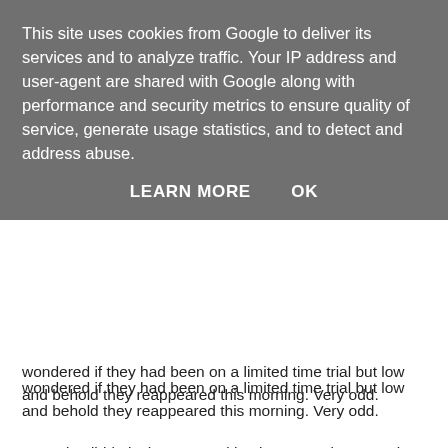This site uses cookies from Google to deliver its services and to analyze traffic. Your IP address and user-agent are shared with Google along with performance and security metrics to ensure quality of service, generate usage statistics, and to detect and address abuse.
LEARN MORE    OK
wondered if they had been on a limited time trial but low and behold they reappeared this morning. Very odd.
My 3rd quibble is that I started having network connection trouble- SIM rejection messages, no signal and no network messages. Really very odd.
My final moan is that the reception isn't great and seems to drop out during calls more regularly than my last phone. Whether this is symptomatic of 'overheating' or early 3G technology is unclear. Extremely odd.
Anyway, I'll conclude by saying that despite all this, you'd have to prise this phone out of my hand if you want to take it